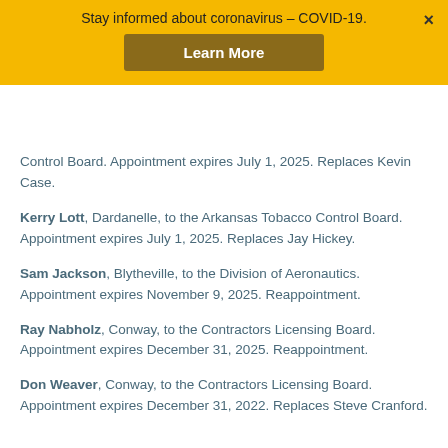Stay informed about coronavirus – COVID-19.
Control Board. Appointment expires July 1, 2025. Replaces Kevin Case.
Kerry Lott, Dardanelle, to the Arkansas Tobacco Control Board. Appointment expires July 1, 2025. Replaces Jay Hickey.
Sam Jackson, Blytheville, to the Division of Aeronautics. Appointment expires November 9, 2025. Reappointment.
Ray Nabholz, Conway, to the Contractors Licensing Board. Appointment expires December 31, 2025. Reappointment.
Don Weaver, Conway, to the Contractors Licensing Board. Appointment expires December 31, 2022. Replaces Steve Cranford.